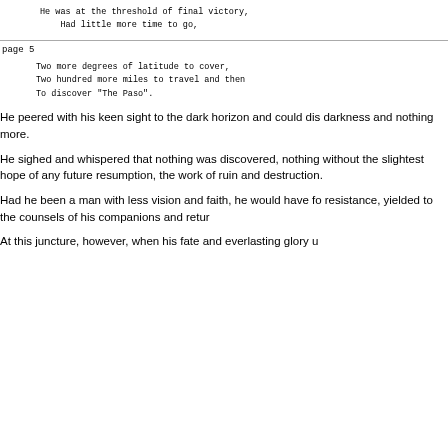He was at the threshold of final victory,
Had little more time to go,
page 5
Two more degrees of latitude to cover,
Two hundred more miles to travel and then
To discover "The Paso".
He peered with his keen sight to the dark horizon and could dis darkness and nothing more.
He sighed and whispered that nothing was discovered, nothing without the slightest hope of any future resumption, the work of ruin and destruction.
Had he been a man with less vision and faith, he would have fo resistance, yielded to the counsels of his companions and retur
At this juncture, however, when his fate and everlasting glory u